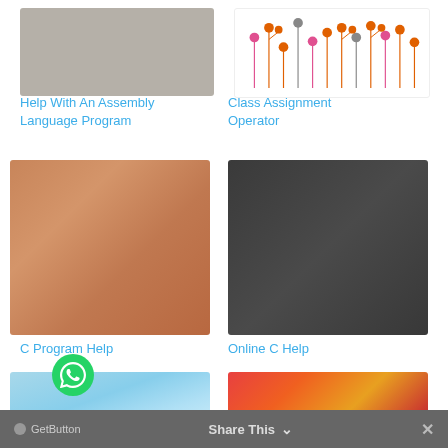[Figure (photo): Gray-beige textured background image thumbnail]
Help With An Assembly Language Program
[Figure (illustration): Floral decorative pattern with orange, pink, and gray dots on stems]
Class Assignment Operator
[Figure (photo): Copper/bronze colored solid background thumbnail]
C Program Help
[Figure (photo): Dark charcoal gray solid background thumbnail]
Online C Help
[Figure (photo): Blue wave abstract background with soft light swirls]
[Figure (photo): Close-up macro photo of a red and orange apple with water droplets]
GetButton   Share This   ✕